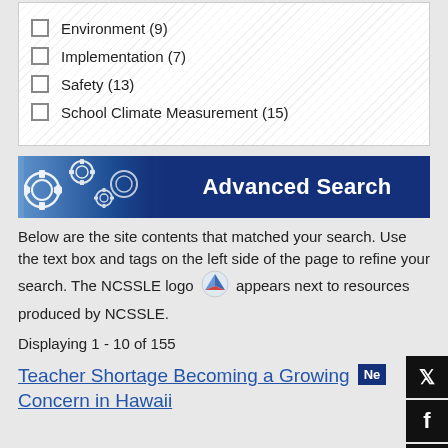Environment (9)
Implementation (7)
Safety (13)
School Climate Measurement (15)
[Figure (other): Advanced Search banner with gear icons on blue background]
Below are the site contents that matched your search. Use the text box and tags on the left side of the page to refine your search. The NCSSLE logo appears next to resources produced by NCSSLE.
Displaying 1 - 10 of 155
Teacher Shortage Becoming a Growing Concern in Hawaii